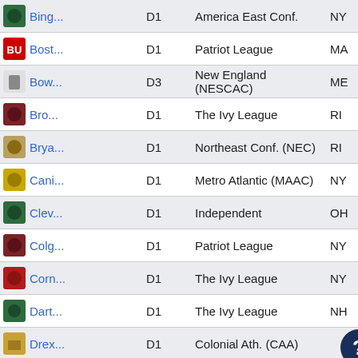| School | Div | Conference | State |
| --- | --- | --- | --- |
| Bing... | D1 | America East Conf. | NY |
| Bost... | D1 | Patriot League | MA |
| Bow... | D3 | New England (NESCAC) | ME |
| Bro... | D1 | The Ivy League | RI |
| Brya... | D1 | Northeast Conf. (NEC) | RI |
| Cani... | D1 | Metro Atlantic (MAAC) | NY |
| Clev... | D1 | Independent | OH |
| Colg... | D1 | Patriot League | NY |
| Corn... | D1 | The Ivy League | NY |
| Dart... | D1 | The Ivy League | NH |
| Drex... | D1 | Colonial Ath. (CAA) |  |
| Duk... | D1 | Atlantic Coast (ACC) | NC |